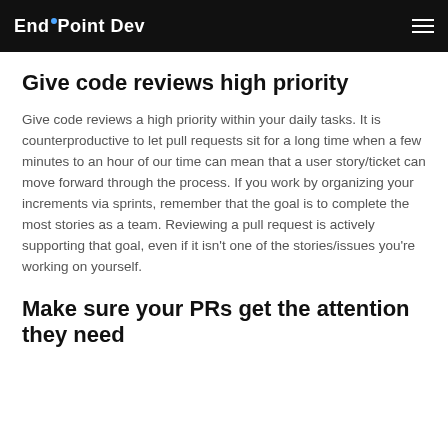End Point Dev
Give code reviews high priority
Give code reviews a high priority within your daily tasks. It is counterproductive to let pull requests sit for a long time when a few minutes to an hour of our time can mean that a user story/ticket can move forward through the process. If you work by organizing your increments via sprints, remember that the goal is to complete the most stories as a team. Reviewing a pull request is actively supporting that goal, even if it isn't one of the stories/issues you're working on yourself.
Make sure your PRs get the attention they need